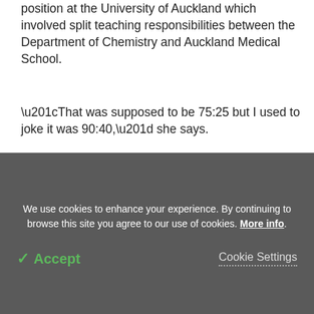position at the University of Auckland which involved split teaching responsibilities between the Department of Chemistry and Auckland Medical School.
“That was supposed to be 75:25 but I used to joke it was 90:40,” she says.
Promoted to Associate Professor last year, she combines her research work with teaching.
“Traditionally people talk about an academic position as being 40 percent teaching, 40 percent research and
We use cookies to enhance your experience. By continuing to browse this site you agree to our use of cookies. More info.